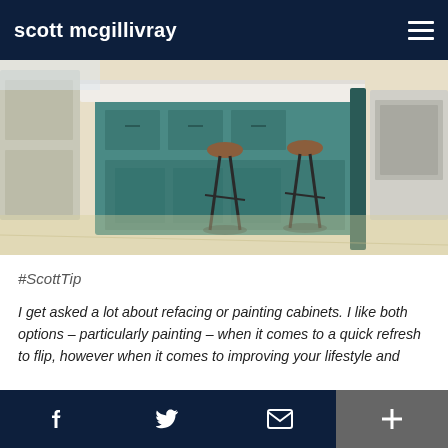scott mcgillivray
[Figure (photo): Kitchen interior with teal/green painted cabinets and island with barstools on light wood floors]
#ScottTip
I get asked a lot about refacing or painting cabinets. I like both options – particularly painting – when it comes to a quick refresh to flip, however when it comes to improving your lifestyle and
Facebook | Twitter | Email | Plus